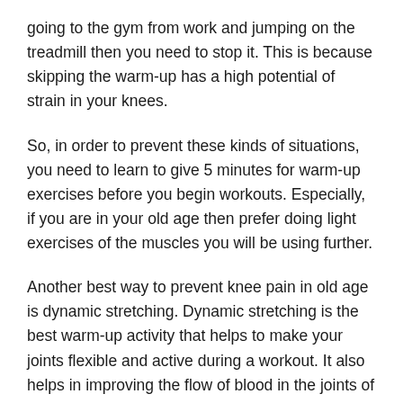going to the gym from work and jumping on the treadmill then you need to stop it. This is because skipping the warm-up has a high potential of strain in your knees.
So, in order to prevent these kinds of situations, you need to learn to give 5 minutes for warm-up exercises before you begin workouts. Especially, if you are in your old age then prefer doing light exercises of the muscles you will be using further.
Another best way to prevent knee pain in old age is dynamic stretching. Dynamic stretching is the best warm-up activity that helps to make your joints flexible and active during a workout. It also helps in improving the flow of blood in the joints of a person.
Improving Range Of Motion